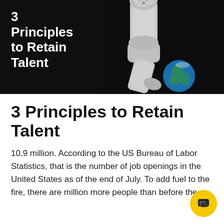[Figure (photo): Dark background image showing a white robotic arm holding the Earth globe, with bold white text overlay reading '3 Principles to Retain Talent']
3 Principles to Retain Talent
10.9 million. According to the US Bureau of Labor Statistics, that is the number of job openings in the United States as of the end of July. To add fuel to the fire, there are million more people than before the